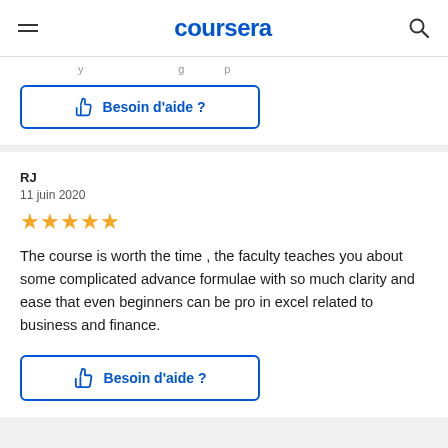coursera
[partial previous review text clipped]
Besoin d'aide ?
RJ
11 juin 2020
★★★★★
The course is worth the time , the faculty teaches you about some complicated advance formulae with so much clarity and ease that even beginners can be pro in excel related to business and finance.
Besoin d'aide ?